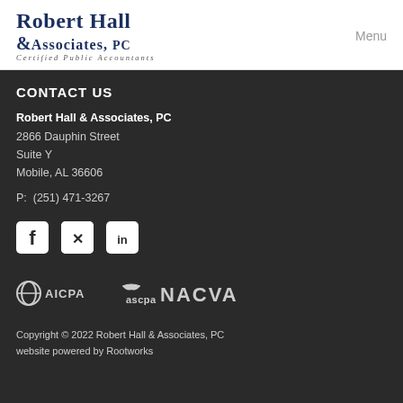[Figure (logo): Robert Hall & Associates, PC - Certified Public Accountants logo in dark navy blue serif font]
Menu
CONTACT US
Robert Hall & Associates, PC
2866 Dauphin Street
Suite Y
Mobile, AL 36606

P:  (251) 471-3267
[Figure (illustration): Social media icons: Facebook, Twitter, LinkedIn]
[Figure (logo): AICPA, ascpa, and NACVA association logos]
Copyright © 2022 Robert Hall & Associates, PC
website powered by Rootworks